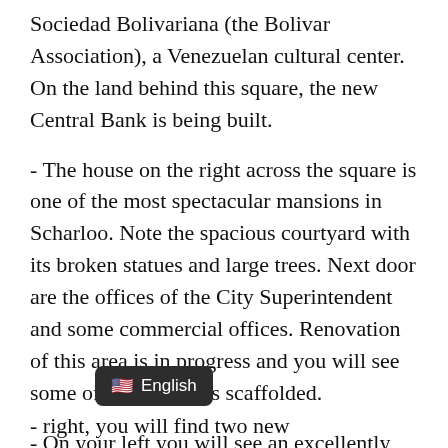Sociedad Bolivariana (the Bolivar Association), a Venezuelan cultural center. On the land behind this square, the new Central Bank is being built.
- The house on the right across the square is one of the most spectacular mansions in Scharloo. Note the spacious courtyard with its broken statues and large trees. Next door are the offices of the City Superintendent and some commercial offices. Renovation of this area is in progress and you will see some of the buildings scaffolded.
- On your left you will see an excellently restored house: Scharlooweg 39. The house originally dates back to 1881 and was inaugurated in the 1950s as the island's only Ashkenazi synagogue (today the building has a different use).
[Figure (other): Language selector badge showing US flag emoji and text 'English' on dark rounded rectangle background]
- ...right, you will find two new